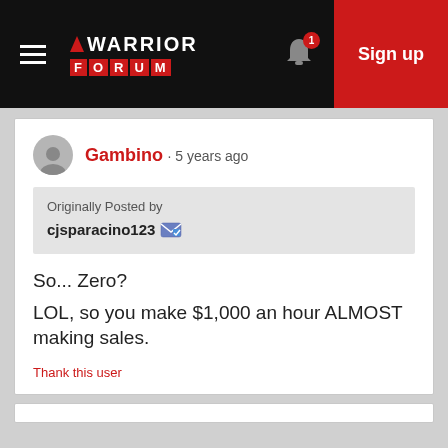Warrior Forum • Sign up
Gambino · 5 years ago
Originally Posted by cjsparacino123
So... Zero?
LOL, so you make $1,000 an hour ALMOST making sales.
Thank this user